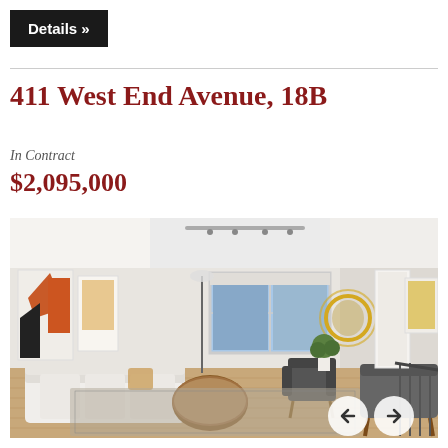Details »
411 West End Avenue, 18B
In Contract
$2,095,000
[Figure (photo): Interior photo of a modern living room with white walls, track lighting, large window with city view, contemporary furniture including a sectional sofa, armchairs, round coffee table, wall art with orange geometric shapes, and a gold circular mirror. Navigation arrows visible at bottom right.]